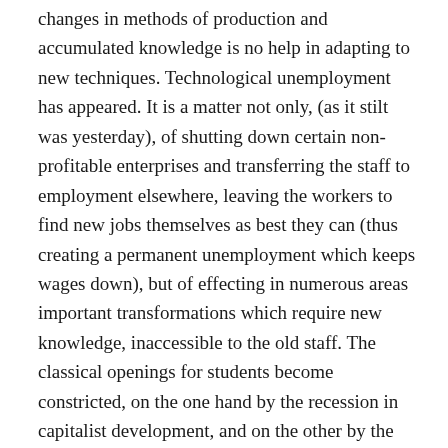changes in methods of production and accumulated knowledge is no help in adapting to new techniques. Technological unemployment has appeared. It is a matter not only, (as it stilt was yesterday), of shutting down certain non-profitable enterprises and transferring the staff to employment elsewhere, leaving the workers to find new jobs themselves as best they can (thus creating a permanent unemployment which keeps wages down), but of effecting in numerous areas important transformations which require new knowledge, inaccessible to the old staff. The classical openings for students become constricted, on the one hand by the recession in capitalist development, and on the other by the existence of unemployed cadres competing on the market.
In this lies the profound economic reason for the